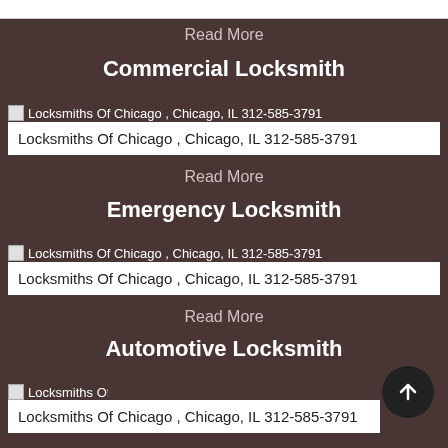Read More
Commercial Locksmith
[Figure (other): Locksmiths Of Chicago , Chicago, IL 312-585-3791 broken image placeholder]
Locksmiths Of Chicago , Chicago, IL 312-585-3791
Read More
Emergency Locksmith
[Figure (other): Locksmiths Of Chicago , Chicago, IL 312-585-3791 broken image placeholder]
Locksmiths Of Chicago , Chicago, IL 312-585-3791
Read More
Automotive Locksmith
[Figure (other): Locksmiths Of Chicago , Chicago, IL 312-585- broken image placeholder]
Locksmiths Of Chicago , Chicago, IL 312-585-3791